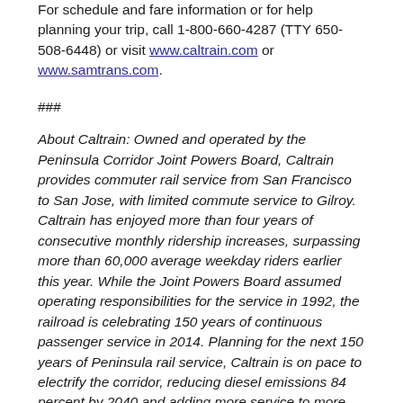For schedule and fare information or for help planning your trip, call 1-800-660-4287 (TTY 650-508-6448) or visit www.caltrain.com or www.samtrans.com.
###
About Caltrain: Owned and operated by the Peninsula Corridor Joint Powers Board, Caltrain provides commuter rail service from San Francisco to San Jose, with limited commute service to Gilroy. Caltrain has enjoyed more than four years of consecutive monthly ridership increases, surpassing more than 60,000 average weekday riders earlier this year. While the Joint Powers Board assumed operating responsibilities for the service in 1992, the railroad is celebrating 150 years of continuous passenger service in 2014. Planning for the next 150 years of Peninsula rail service, Caltrain is on pace to electrify the corridor, reducing diesel emissions 84 percent by 2040 and adding more service to more stations.
Like us on Facebook at: www.facebook.com/caltrain and follow us on Twitter @Caltrain
About San Trans San Trans provides...